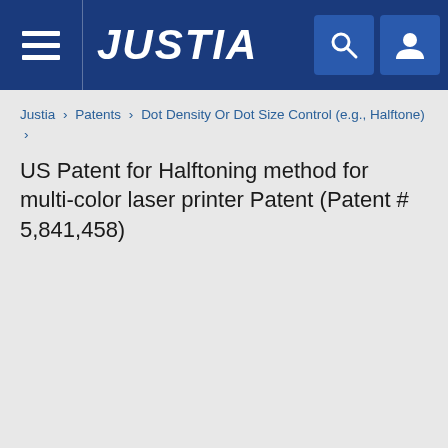JUSTIA
Justia › Patents › Dot Density Or Dot Size Control (e.g., Halftone) ›
US Patent for Halftoning method for multi-color laser printer Patent (Patent # 5,841,458)